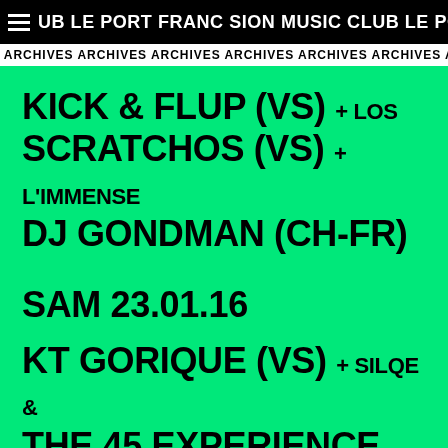UB LE PORT FRANC SION MUSIC CLUB LE PORT
ARCHIVES ARCHIVES ARCHIVES ARCHIVES ARCHIVES ARCHIVES ARCHIV
KICK & FLUP (VS) + LOS SCRATCHOS (VS) + L'IMMENSE DJ GONDMAN (CH-FR)
SAM 23.01.16
KT GORIQUE (VS) + SILQE & THE 45 EXPERIENCE (FR)